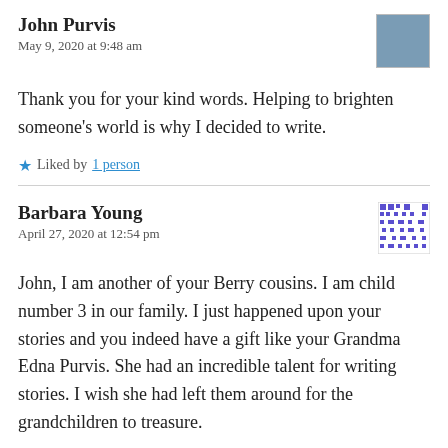John Purvis
May 9, 2020 at 9:48 am
Thank you for your kind words. Helping to brighten someone's world is why I decided to write.
Liked by 1 person
Barbara Young
April 27, 2020 at 12:54 pm
John, I am another of your Berry cousins. I am child number 3 in our family. I just happened upon your stories and you indeed have a gift like your Grandma Edna Purvis. She had an incredible talent for writing stories. I wish she had left them around for the grandchildren to treasure.